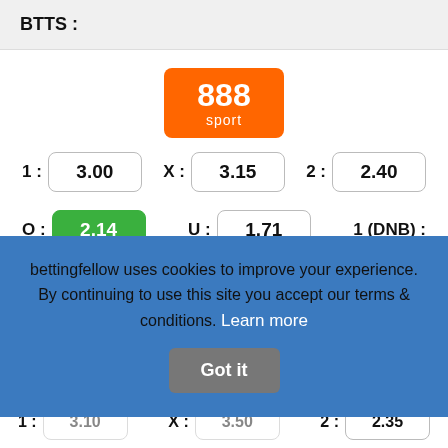BTTS :
[Figure (logo): 888sport logo - orange rounded rectangle with '888' in white and 'sport' below]
1 : 3.00   X : 3.15   2 : 2.40
O : 2.14   U : 1.71   1 (DNB) :
bettingfellow uses cookies to improve your experience. By continuing to use this site you accept our terms & conditions. Learn more  Got it
1 : 3.10   X : 3.50   2 : 2.35